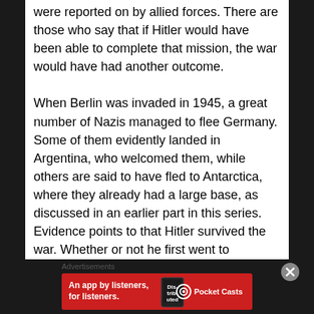were reported on by allied forces. There are those who say that if Hitler would have been able to complete that mission, the war would have had another outcome.

When Berlin was invaded in 1945, a great number of Nazis managed to flee Germany. Some of them evidently landed in Argentina, who welcomed them, while others are said to have fled to Antarctica, where they already had a large base, as discussed in an earlier part in this series. Evidence points to that Hitler survived the war. Whether or not he first went to Antarctica, I don't know, but there is evidence enough that he
Advertisements
[Figure (other): Red advertisement banner for Pocket Casts app with text 'An app by listeners, for listeners.' and Pocket Casts logo on the right, with a phone/book image on the banner.]